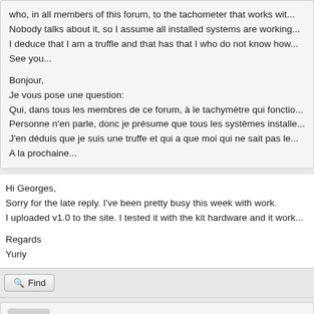who, in all members of this forum, to the tachometer that works wit...
Nobody talks about it, so I assume all installed systems are working...
I deduce that I am a truffle and that has that I who do not know how...
See you...

Bonjour,
Je vous pose une question:
Qui, dans tous les membres de ce forum, à le tachymètre qui fonctio...
Personne n'en parle, donc je présume que tous les systèmes installe...
J'en déduis que je suis une truffe et qui a que moi qui ne sait pas le...
A la prochaine...
Hi Georges,
Sorry for the late reply. I've been pretty busy this week with work.
I uploaded v1.0 to the site. I tested it with the kit hardware and it work...

Regards
Yuriy
Find
chapulino